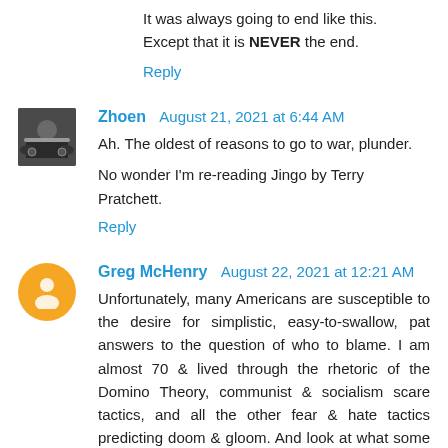It was always going to end like this.
Except that it is NEVER the end.
Reply
Zhoen  August 21, 2021 at 6:44 AM
Ah. The oldest of reasons to go to war, plunder.
No wonder I'm re-reading Jingo by Terry Pratchett.
Reply
Greg McHenry  August 22, 2021 at 12:21 AM
Unfortunately, many Americans are susceptible to the desire for simplistic, easy-to-swallow, pat answers to the question of who to blame. I am almost 70 & lived through the rhetoric of the Domino Theory, communist & socialism scare tactics, and all the other fear & hate tactics predicting doom & gloom. And look at what some of us have done, or are still trying to do. We're doing it to ourselves. We have seen the enemy, and he is among us, the fractured social